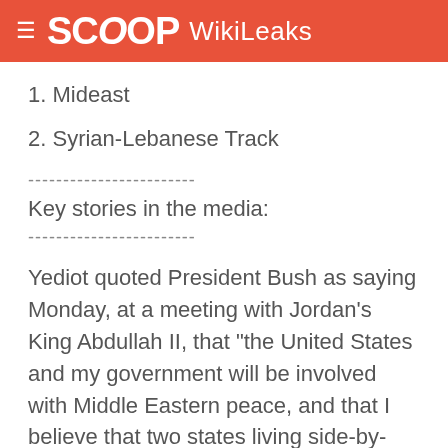SCOOP WikiLeaks
1. Mideast
2. Syrian-Lebanese Track
------------------------
Key stories in the media:
------------------------
Yediot quoted President Bush as saying Monday, at a meeting with Jordan's King Abdullah II, that "the United States and my government will be involved with Middle Eastern peace, and that I believe that two states living side-by-side in peace -- a Palestinian state and an Israeli state -- is necessary for there to